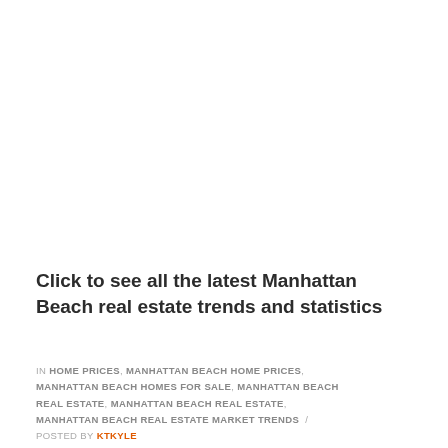Click to see all the latest Manhattan Beach real estate trends and statistics
IN HOME PRICES, MANHATTAN BEACH HOME PRICES, MANHATTAN BEACH HOMES FOR SALE, MANHATTAN BEACH REAL ESTATE, MANHATTAN BEACH REAL ESTATE, MANHATTAN BEACH REAL ESTATE MARKET TRENDS / POSTED BY KTKYLE